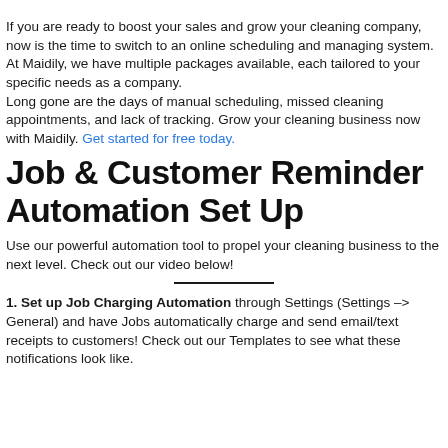If you are ready to boost your sales and grow your cleaning company, now is the time to switch to an online scheduling and managing system. At Maidily, we have multiple packages available, each tailored to your specific needs as a company.
Long gone are the days of manual scheduling, missed cleaning appointments, and lack of tracking. Grow your cleaning business now with Maidily. Get started for free today.
Job & Customer Reminder Automation Set Up
Use our powerful automation tool to propel your cleaning business to the next level. Check out our video below!
1. Set up Job Charging Automation through Settings (Settings -> General) and have Jobs automatically charge and send email/text receipts to customers! Check out our Templates to see what these notifications look like.